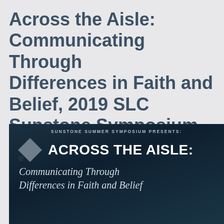Across the Aisle: Communicating Through Differences in Faith and Belief, 2019 SLC Sunstone Symposium
[Figure (illustration): Promotional banner for 'Sunstone Summer Symposium Presents: Across the Aisle: Communicating Through Differences in Faith and Belief'. Dark teal/navy background with a stylized sunburst logo icon on the left and bold white uppercase text for the main title, with italic script subtitle below.]